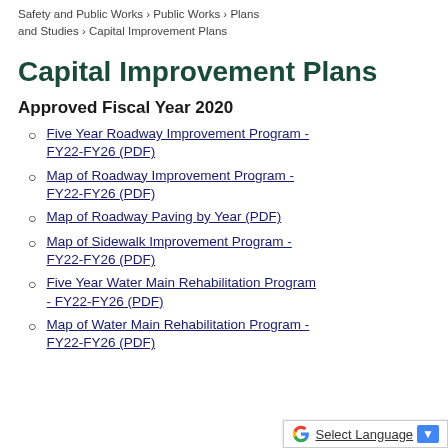Safety and Public Works › Public Works › Plans and Studies › Capital Improvement Plans
Capital Improvement Plans
Approved Fiscal Year 2020
Five Year Roadway Improvement Program - FY22-FY26 (PDF)
Map of Roadway Improvement Program - FY22-FY26 (PDF)
Map of Roadway Paving by Year (PDF)
Map of Sidewalk Improvement Program - FY22-FY26 (PDF)
Five Year Water Main Rehabilitation Program - FY22-FY26 (PDF)
Map of Water Main Rehabilitation Program - FY22-FY26 (PDF)